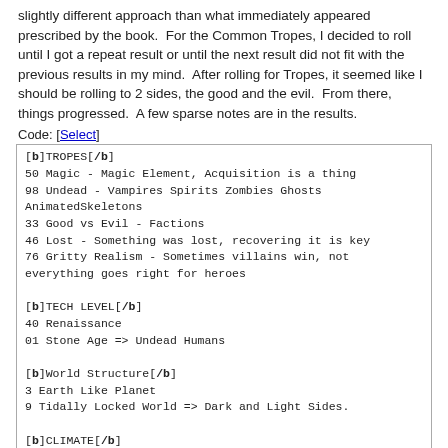slightly different approach than what immediately appeared prescribed by the book.  For the Common Tropes, I decided to roll until I got a repeat result or until the next result did not fit with the previous results in my mind.  After rolling for Tropes, it seemed like I should be rolling to 2 sides, the good and the evil.  From there, things progressed.  A few sparse notes are in the results.
Code: [Select]
[b]TROPES[/b]
50 Magic - Magic Element, Acquisition is a thing
98 Undead - Vampires Spirits Zombies Ghosts AnimatedSkeletons
33 Good vs Evil - Factions
46 Lost - Something was lost, recovering it is key
76 Gritty Realism - Sometimes villains win, not everything goes right for heroes

[b]TECH LEVEL[/b]
40 Renaissance
01 Stone Age => Undead Humans

[b]World Structure[/b]
3 Earth Like Planet
9 Tidally Locked World => Dark and Light Sides.

[b]CLIMATE[/b]
7 Temperate World => Light Side
8 Cold World => Dark Side

[b]Environments[/b]
7 River Valley - seamless
2 Wasteland

[b]Population[/b]
7 Midsized Towns
3 Isolated Low-tech groups